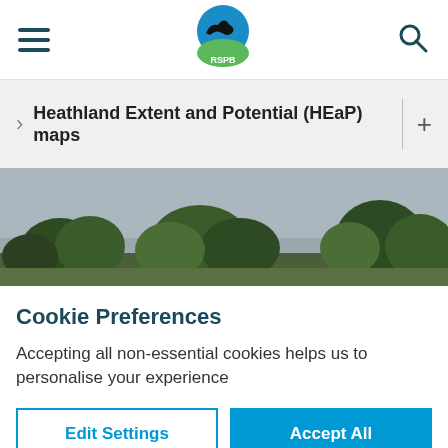RSPB website header with hamburger menu, RSPB logo, and search icon
Heathland Extent and Potential (HEaP) maps
[Figure (photo): Landscape photo showing heathland scene with trees against an overcast sky]
Cookie Preferences
Accepting all non-essential cookies helps us to personalise your experience
Edit Settings | Accept All